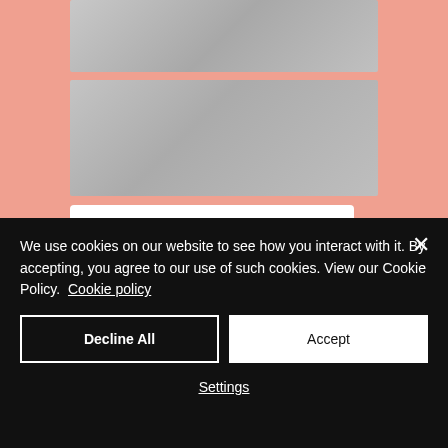[Figure (screenshot): Blurred/greyed screenshot block 1 at top]
[Figure (screenshot): Blurred/greyed screenshot block 2]
6 month success programme literally changed my life, never would I ever had the confidence to start my own business without it
[Figure (screenshot): Blurred/greyed screenshot block 3]
I was on the fence last time around and I'm SO glad I took the plunge. The benefits to my business have been priceless!
The programme is helping turn my business around
We use cookies on our website to see how you interact with it. By accepting, you agree to our use of such cookies. View our Cookie Policy. Cookie policy
Decline All
Accept
Settings